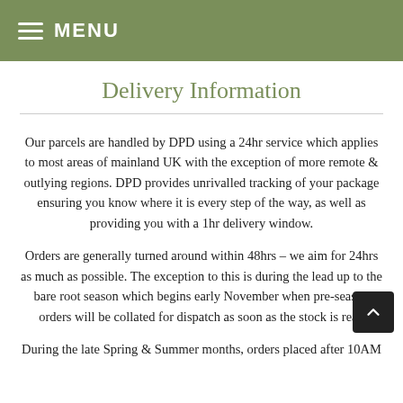≡ MENU
Delivery Information
Our parcels are handled by DPD using a 24hr service which applies to most areas of mainland UK with the exception of more remote & outlying regions. DPD provides unrivalled tracking of your package ensuring you know where it is every step of the way, as well as providing you with a 1hr delivery window.
Orders are generally turned around within 48hrs – we aim for 24hrs as much as possible. The exception to this is during the lead up to the bare root season which begins early November when pre-season orders will be collated for dispatch as soon as the stock is read...
During the late Spring & Summer months, orders placed after 10AM